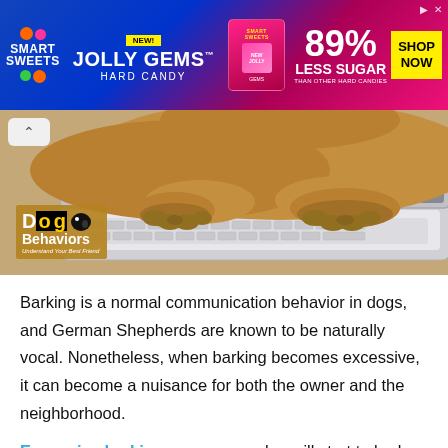[Figure (photo): Advertisement banner for SmartSweets Jolly Gems Hard Candy showing '89% Less Sugar than other hard candies' with Shop Now button and colorful candy graphics on blue/pink gradient background]
[Figure (photo): Photo of a dog (German Shepherd) with paws resting on a laptop keyboard, with Dog Behaviors logo overlay in bottom left]
Barking is a normal communication behavior in dogs, and German Shepherds are known to be naturally vocal. Nonetheless, when barking becomes excessive, it can become a nuisance for both the owner and the neighborhood.
Excessive barking means your dog will start to bark for any little stimulant and go on and on and on. It could be a doorbell, a passing stranger, or even the rustling of leaves in